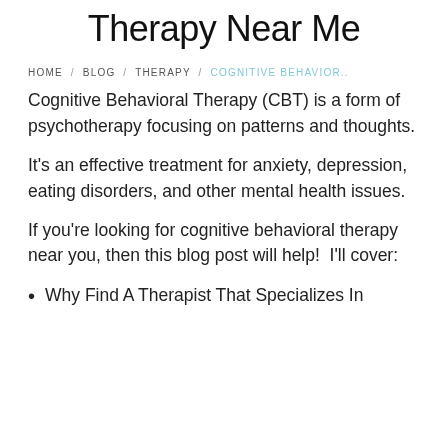Therapy Near Me
HOME / BLOG / THERAPY / COGNITIVE BEHAVIOR..
Cognitive Behavioral Therapy (CBT) is a form of psychotherapy focusing on patterns and thoughts.
It's an effective treatment for anxiety, depression, eating disorders, and other mental health issues.
If you're looking for cognitive behavioral therapy near you, then this blog post will help!  I'll cover:
Why Find A Therapist That Specializes In